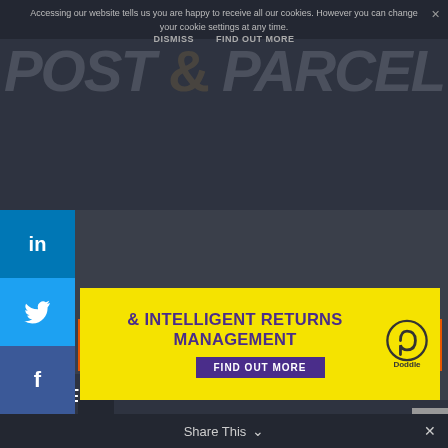Accessing our website tells us you are happy to receive all our cookies. However you can change your cookie settings at any time.
DISMISS   FIND OUT MORE
[Figure (logo): POST & PARCEL watermark logo in large italic grey text with ampersand]
[Figure (infographic): Social media sidebar with LinkedIn, Twitter, Facebook, Print, Google+, and more buttons]
[Figure (infographic): Yellow advertisement banner: & INTELLIGENT RETURNS MANAGEMENT with FIND OUT MORE button and Doddle logo]
Menu
VOTE NOW
MER MAGAZINE
Share This